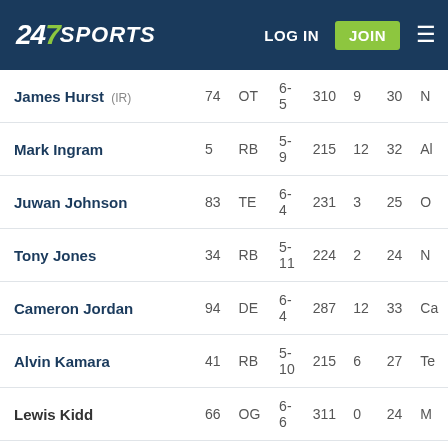247 SPORTS — LOG IN | JOIN
| Player | # | Pos | Ht | Wt |  |  |  |
| --- | --- | --- | --- | --- | --- | --- | --- |
| James Hurst (IR) | 74 | OT | 6-5 | 310 | 9 | 30 | N... |
| Mark Ingram | 5 | RB | 5-9 | 215 | 12 | 32 | Al... |
| Juwan Johnson | 83 | TE | 6-4 | 231 | 3 | 25 | O... |
| Tony Jones | 34 | RB | 5-11 | 224 | 2 | 24 | N... |
| Cameron Jordan | 94 | DE | 6-4 | 287 | 12 | 33 | Ca... |
| Alvin Kamara | 41 | RB | 5-10 | 215 | 6 | 27 | Te... |
| Lewis Kidd | 66 | OG | 6-6 | 311 | 0 | 24 | M... |
| Tanoh Kpassagnon | 90 | LB | 6-7 | 289 | 6 | 28 | Vi... |
| Jarvis Landry | 80 | WR | 5-11 | 196 | 9 | 29 |  |